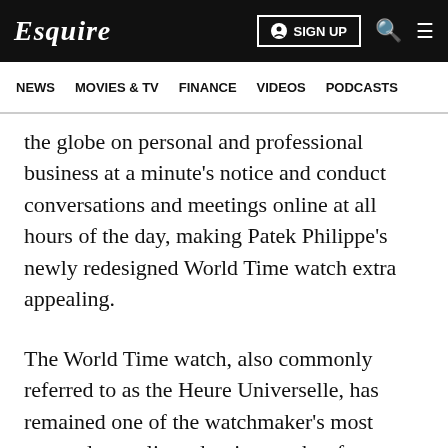Esquire  SIGN UP
NEWS  MOVIES & TV  FINANCE  VIDEOS  PODCASTS
the globe on personal and professional business at a minute's notice and conduct conversations and meetings online at all hours of the day, making Patek Philippe's newly redesigned World Time watch extra appealing.
The World Time watch, also commonly referred to as the Heure Universelle, has remained one of the watchmaker's most coveted complicated wrist watches for almost 80 years, but modern times call for a few welcome aesthetic tweaks, such as a pierced hour hand designed to evoke the Southern Cross constellation and a considerably slimmer